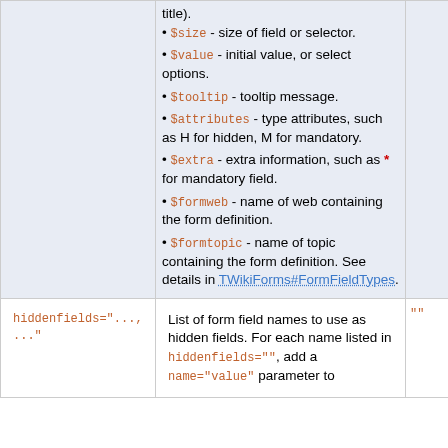$size - size of field or selector.
$value - initial value, or select options.
$tooltip - tooltip message.
$attributes - type attributes, such as H for hidden, M for mandatory.
$extra - extra information, such as * for mandatory field.
$formweb - name of web containing the form definition.
$formtopic - name of topic containing the form definition. See details in TWikiForms#FormFieldTypes.
| hiddenfields="..., ..." | List of form field names to use as hidden fields... | "" |
| --- | --- | --- |